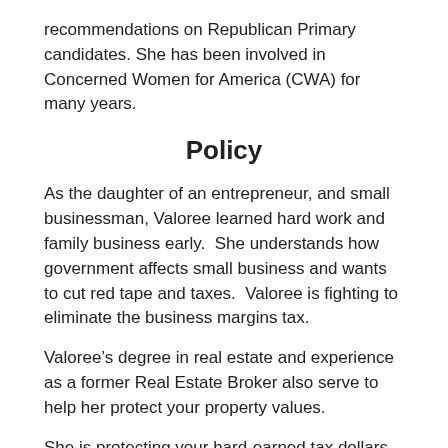recommendations on Republican Primary candidates. She has been involved in Concerned Women for America (CWA) for many years.
Policy
As the daughter of an entrepreneur, and small businessman, Valoree learned hard work and family business early.  She understands how government affects small business and wants to cut red tape and taxes.  Valoree is fighting to eliminate the business margins tax.
Valoree’s degree in real estate and experience as a former Real Estate Broker also serve to help her protect your property values.
She is protecting your hard-earned tax dollars by